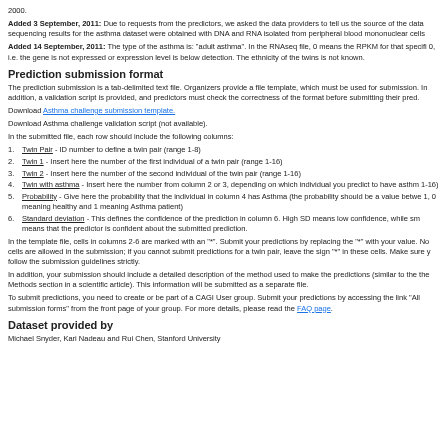2000.
Added 3 September, 2011: Due to requests from the predictors, we asked the data providers to tell us the source of the data sequencing results for the asthma dataset were obtained with DNA and RNA isolated from peripheral blood mononuclear cells
Added 14 September, 2011: The type of the asthma is: "adult asthma". In the RNAseq file, 0 means the RPKM for that specific 0, i.e. the gene is not expressed or expression level is below detection. The ethnicity of the twins is not known.
Prediction submission format
The prediction submission is a tab-delimited text file. Organizers provide a file template, which must be used for submission. In addition, a validation script is provided, and predictors must check the correctness of the format before submitting their pred.
Download Asthma challenge submission template.
Download Asthma challenge validation script (not available).
In the submitted file, each row should include the following columns:
Twin Pair - ID number to define a twin pair (range 1-8)
Twin 1 - Insert here the number of the first individual of a twin pair (range 1-16)
Twin 2 - Insert here the number of the second individual of the twin pair (range 1-16)
Twin with asthma - Insert here the number from column 2 or 3, depending on which individual you predict to have asthm 1-16)
Probability - Give here the probability that the individual in column 4 has Asthma (the probability should be a value betwe 1, 0 meaning healthy and 1 meaning Asthma patient)
Standard deviation - This defines the confidence of the prediction in column 6. High SD means low confidence, while sm means that the predictor is confident about the submitted prediction.
In the template file, cells in columns 2-6 are marked with an "*". Submit your predictions by replacing the "*" with your value. No cells are allowed in the submission; if you cannot submit predictions for a twin pair, leave the sign "*" in these cells. Make sure y follow the submission guidelines strictly.
In addition, your submission should include a detailed description of the method used to make the predictions (similar to the the Methods section in a scientific article). This information will be submitted as a separate file.
To submit predictions, you need to create or be part of a CAGI User group. Submit your predictions by accessing the link "All submission forms" from the front page of your group. For more details, please read the FAQ page.
Dataset provided by
Michael Snyder, Kari Nadeau and Rui Chen, Stanford University